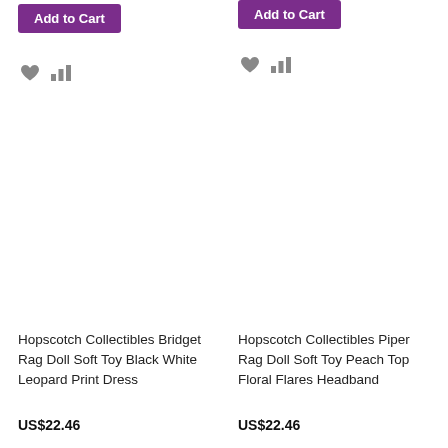Add to Cart
Add to Cart
Hopscotch Collectibles Bridget Rag Doll Soft Toy Black White Leopard Print Dress
US$22.46
Hopscotch Collectibles Piper Rag Doll Soft Toy Peach Top Floral Flares Headband
US$22.46